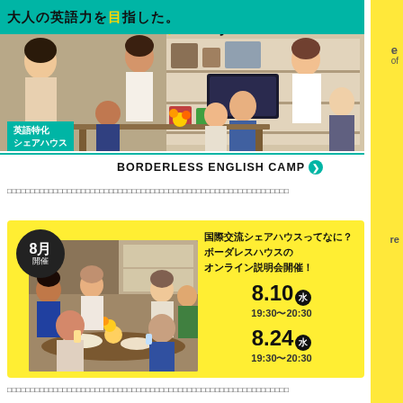[Figure (photo): Top banner for Borderless English Camp showing Japanese adults in a shared house living room. Teal header with Japanese text about 6-week workation study abroad. Green badge reading 英語特化シェアハウス. White bar at bottom with BORDERLESS ENGLISH CAMP text.]
□□□□□□□□□□□□□□□□□□□□□□□□□□□□□□□□□□□□□□□□□□□□□□□□□□□
[Figure (photo): Yellow background banner for online information session about international exchange share house (Borderless House). Circle badge says 8月開催. Left side photo shows diverse group dining together. Right side text: 国際交流シェアハウスってなに？ ボーダレスハウスの オンライン説明会開催！ with dates 8.10(水) 19:30~20:30 and 8.24(水) 19:30~20:30]
□□□□□□□□□□□□□□□□□□□□□□□□□□□□□□□□□□□□□□□□□□□□□□□□□□□